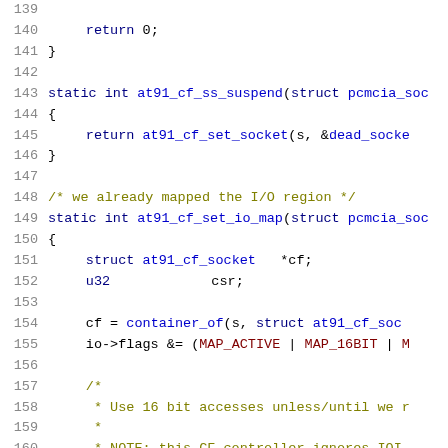Source code listing, lines 139-160, C kernel driver code for at91_cf pcmcia socket driver